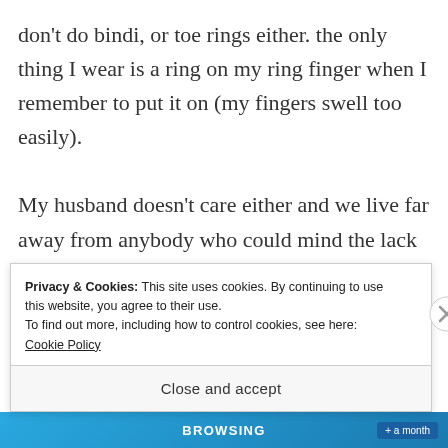don't do bindi, or toe rings either. the only thing I wear is a ring on my ring finger when I remember to put it on (my fingers swell too easily).

My husband doesn't care either and we live far away from anybody who could mind the lack of marriage symbols. I don't like advertising my status, especially my
Privacy & Cookies: This site uses cookies. By continuing to use this website, you agree to their use.
To find out more, including how to control cookies, see here: Cookie Policy
Close and accept
BROWSING